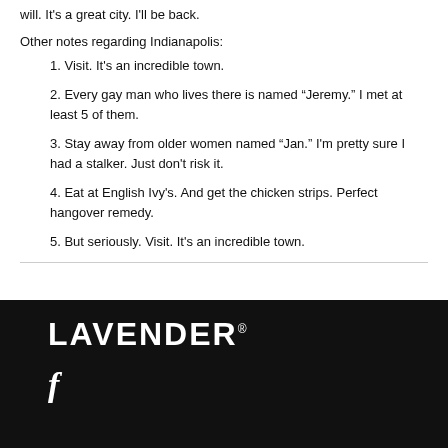will. It's a great city. I'll be back.
Other notes regarding Indianapolis:
1. Visit. It's an incredible town.
2. Every gay man who lives there is named “Jeremy.” I met at least 5 of them.
3. Stay away from older women named “Jan.” I'm pretty sure I had a stalker. Just don't risk it.
4. Eat at English Ivy's. And get the chicken strips. Perfect hangover remedy.
5. But seriously. Visit. It's an incredible town.
LAVENDER